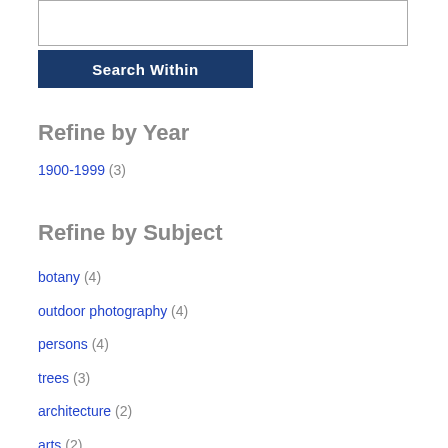[Figure (screenshot): Search input text box at top]
[Figure (screenshot): Search Within button, dark blue background with white bold text]
Refine by Year
1900-1999 (3)
Refine by Subject
botany (4)
outdoor photography (4)
persons (4)
trees (3)
architecture (2)
arts (2)
bells (2)